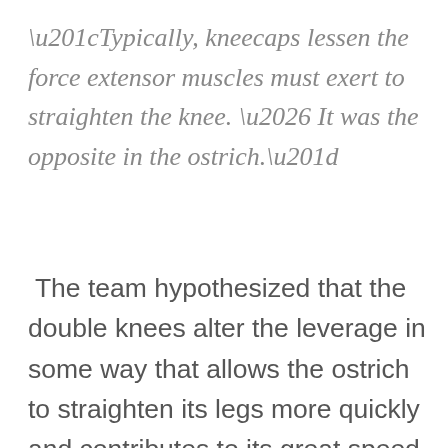“Typically, kneecaps lessen the force extensor muscles must exert to straighten the knee. … It was the opposite in the ostrich.”
The team hypothesized that the double knees alter the leverage in some way that allows the ostrich to straighten its legs more quickly and contributes to its great speed in running.